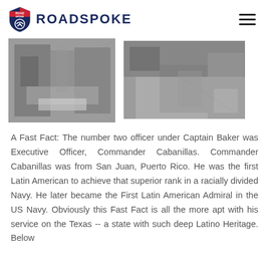ROADSPOKE
[Figure (photo): Black and white photograph of a person receiving medical care or being attended to, with equipment visible, historical naval or military context]
[Figure (photo): Black and white photograph of a person in what appears to be a confined or industrial space, historical naval or military context]
A Fast Fact: The number two officer under Captain Baker was Executive Officer, Commander Cabanillas. Commander Cabanillas was from San Juan, Puerto Rico. He was the first Latin American to achieve that superior rank in a racially divided Navy. He later became the First Latin American Admiral in the US Navy. Obviously this Fast Fact is all the more apt with his service on the Texas -- a state with such deep Latino Heritage. Below